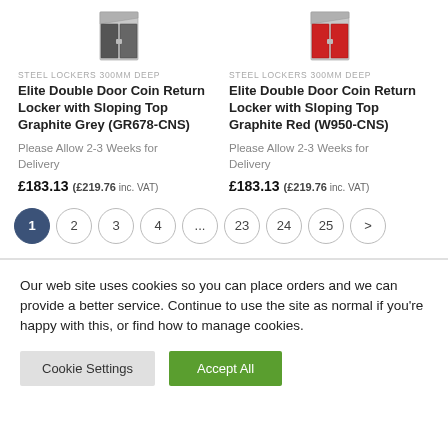[Figure (photo): Grey steel double door locker with sloping top]
[Figure (photo): Red steel double door locker with sloping top]
STEEL LOCKERS 300MM DEEP
Elite Double Door Coin Return Locker with Sloping Top Graphite Grey (GR678-CNS)
Please Allow 2-3 Weeks for Delivery
£183.13 (£219.76 inc. VAT)
STEEL LOCKERS 300MM DEEP
Elite Double Door Coin Return Locker with Sloping Top Graphite Red (W950-CNS)
Please Allow 2-3 Weeks for Delivery
£183.13 (£219.76 inc. VAT)
1 2 3 4 ... 23 24 25 >
Our web site uses cookies so you can place orders and we can provide a better service. Continue to use the site as normal if you're happy with this, or find how to manage cookies.